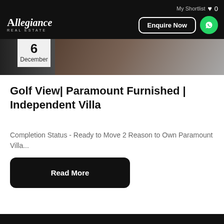Allegiance Real Estate | My Shortlist 0 | Enquire Now
[Figure (photo): Interior lifestyle photo strip with date badge showing 6 December]
Golf View| Paramount Furnished | Independent Villa
Completion Status - Ready to Move 2 Reason to Own Paramount Villa...
Read More